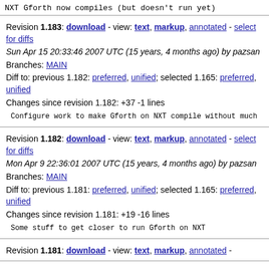NXT Gforth now compiles (but doesn't run yet)
Revision 1.183: download - view: text, markup, annotated - select for diffs
Sun Apr 15 20:33:46 2007 UTC (15 years, 4 months ago) by pazsan
Branches: MAIN
Diff to: previous 1.182: preferred, unified; selected 1.165: preferred, unified
Changes since revision 1.182: +37 -1 lines
Configure work to make Gforth on NXT compile without much
Revision 1.182: download - view: text, markup, annotated - select for diffs
Mon Apr 9 22:36:01 2007 UTC (15 years, 4 months ago) by pazsan
Branches: MAIN
Diff to: previous 1.181: preferred, unified; selected 1.165: preferred, unified
Changes since revision 1.181: +19 -16 lines
Some stuff to get closer to run Gforth on NXT
Revision 1.181: download - view: text, markup, annotated -